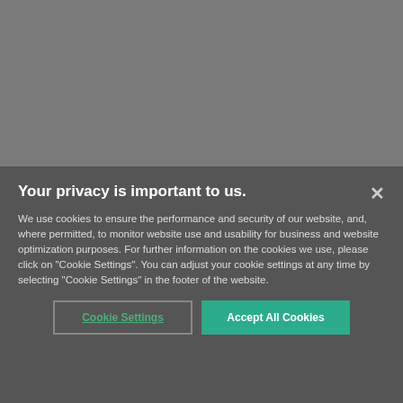orders on CSPs from China has generated market uncertainty for companies that import or rely on imported CSPs.
2. Whether any assessment of duties or penalties that result from the investigation will have retroactive effect is currently unclear. Applicable regulations do not require Commerce to apply duties
[Figure (screenshot): Cookie consent modal overlay with dark gray background. Title: 'Your privacy is important to us.' with a close X button. Body text about cookies and privacy. Two buttons: 'Cookie Settings' (outlined, green text) and 'Accept All Cookies' (teal filled).]